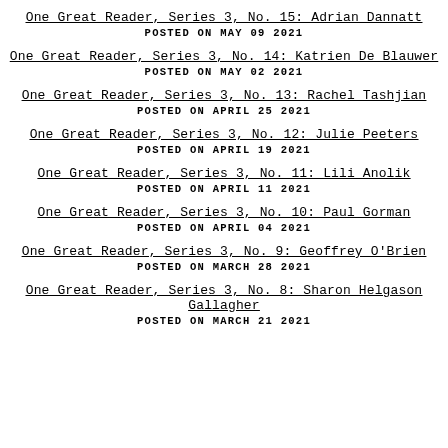One Great Reader, Series 3, No. 15: Adrian Dannatt
POSTED ON MAY 09 2021
One Great Reader, Series 3, No. 14: Katrien De Blauwer
POSTED ON MAY 02 2021
One Great Reader, Series 3, No. 13: Rachel Tashjian
POSTED ON APRIL 25 2021
One Great Reader, Series 3, No. 12: Julie Peeters
POSTED ON APRIL 19 2021
One Great Reader, Series 3, No. 11: Lili Anolik
POSTED ON APRIL 11 2021
One Great Reader, Series 3, No. 10: Paul Gorman
POSTED ON APRIL 04 2021
One Great Reader, Series 3, No. 9: Geoffrey O'Brien
POSTED ON MARCH 28 2021
One Great Reader, Series 3, No. 8: Sharon Helgason Gallagher
POSTED ON MARCH 21 2021